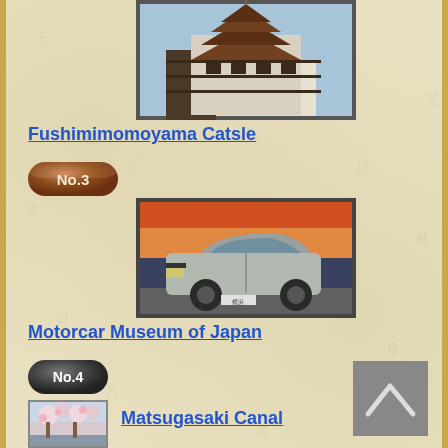[Figure (photo): Fushimimomoyama Castle - a multi-storey traditional Japanese castle/pagoda building]
Fushimimomoyama Catsle
[Figure (illustration): No.3 bronze/brown pill-shaped badge]
[Figure (photo): Motorcar Museum of Japan - vintage Japanese car (Nissan Skyline) displayed in museum]
Motorcar Museum of Japan
[Figure (illustration): No.4 dark grey pill-shaped badge]
Matsugasaki Canal
[Figure (photo): Cherry blossom trees near Matsugasaki Canal]